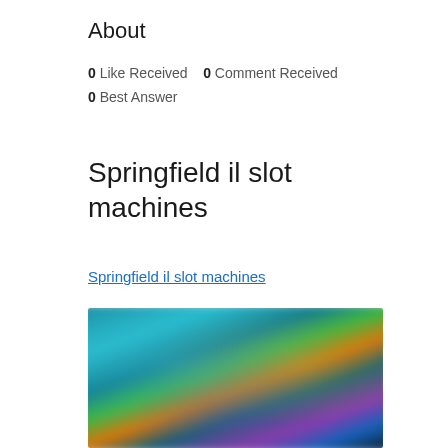About
0 Like Received   0 Comment Received
0 Best Answer
Springfield il slot machines
Springfield il slot machines
[Figure (photo): Blurred screenshot of a slot machine game interface with animated characters on a teal/blue background, showing game elements in lower portion]